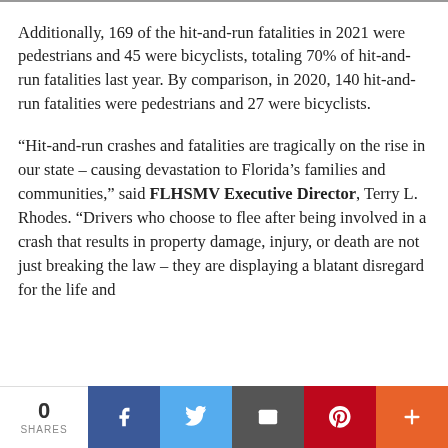Additionally, 169 of the hit-and-run fatalities in 2021 were pedestrians and 45 were bicyclists, totaling 70% of hit-and-run fatalities last year. By comparison, in 2020, 140 hit-and-run fatalities were pedestrians and 27 were bicyclists.
“Hit-and-run crashes and fatalities are tragically on the rise in our state – causing devastation to Florida’s families and communities,” said FLHSMV Executive Director, Terry L. Rhodes. “Drivers who choose to flee after being involved in a crash that results in property damage, injury, or death are not just breaking the law – they are displaying a blatant disregard for the life and
0 SHARES | Facebook | Twitter | Email | Pinterest | More